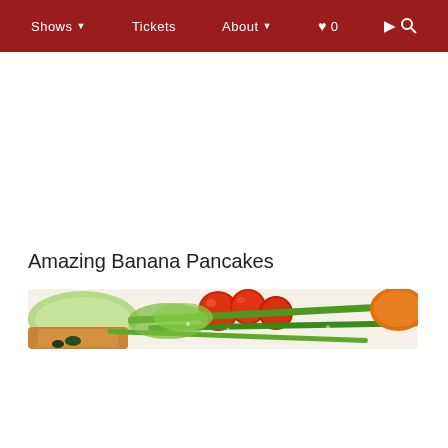Shows | Tickets | About | ♥ 0 | Search
Amazing Banana Pancakes
[Figure (photo): A close-up food photograph showing cherry tomatoes, green vegetables (bok choy and green beans), and a portion of what appears to be a pancake or fritter dish on a white plate.]